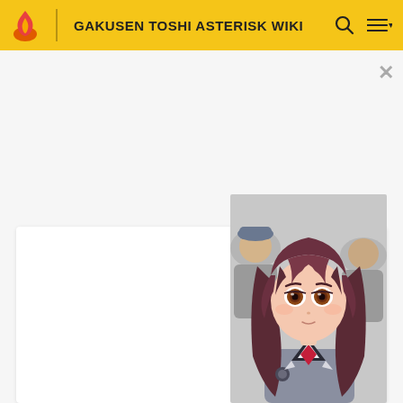GAKUSEN TOSHI ASTERISK WIKI
[Figure (illustration): Anime character with long dark reddish-brown hair and amber eyes wearing a dark school uniform with red ribbon/tie, surrounded by blurred background characters]
JAPANESE　□□□□□□□□□□